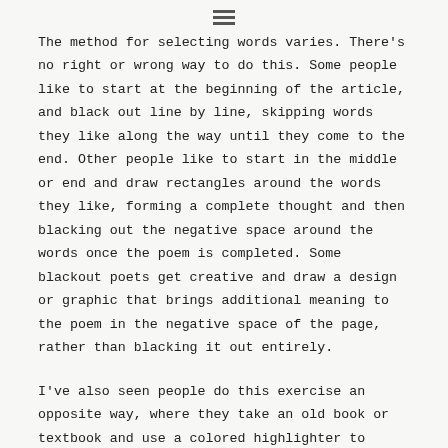≡
The method for selecting words varies. There's no right or wrong way to do this. Some people like to start at the beginning of the article, and black out line by line, skipping words they like along the way until they come to the end. Other people like to start in the middle or end and draw rectangles around the words they like, forming a complete thought and then blacking out the negative space around the words once the poem is completed. Some blackout poets get creative and draw a design or graphic that brings additional meaning to the poem in the negative space of the page, rather than blacking it out entirely.
I've also seen people do this exercise an opposite way, where they take an old book or textbook and use a colored highlighter to write a poem on a page.